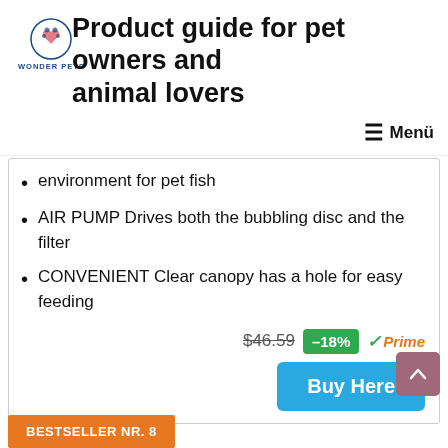Product guide for pet owners and animal lovers
Menü
environment for pet fish
AIR PUMP Drives both the bubbling disc and the filter
CONVENIENT Clear canopy has a hole for easy feeding
$46.59  –18%  Prime  Buy Here
BESTSELLER NR. 8